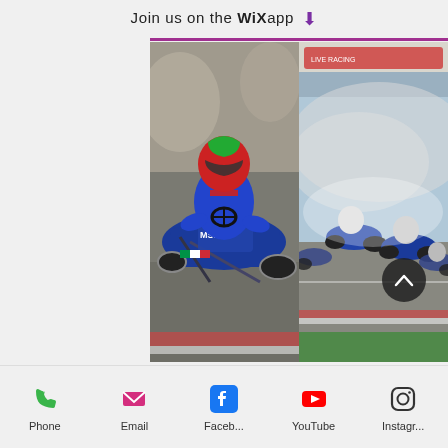Join us on the WiX app ↓
[Figure (photo): Mobile app screenshot showing two karting photos side by side: left photo of a kart driver in a blue suit and red/green helmet racing closely, right photo of multiple kart racers on track with smoke/dust]
Phone | Email | Faceb... | YouTube | Instagr...